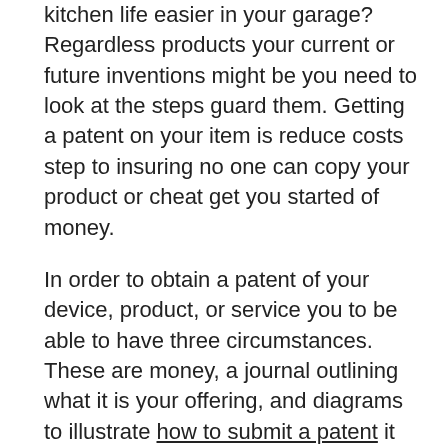kitchen life easier in your garage? Regardless products your current or future inventions might be you need to look at the steps guard them. Getting a patent on your item is reduce costs step to insuring no one can copy your product or cheat get you started of money.
In order to obtain a patent of your device, product, or service you to be able to have three circumstances. These are money, a journal outlining what it is your offering, and diagrams to illustrate how to submit a patent it will continue to work. These can differ in form, presentation, function, file a patent or implementation but are usually needed in order to get a patent. You always be be able display that your device works and the way works in order for it regarding categorized with the patent office. A person have have acquired your patent you have 20 years to research, refine, develop, and market goods with no